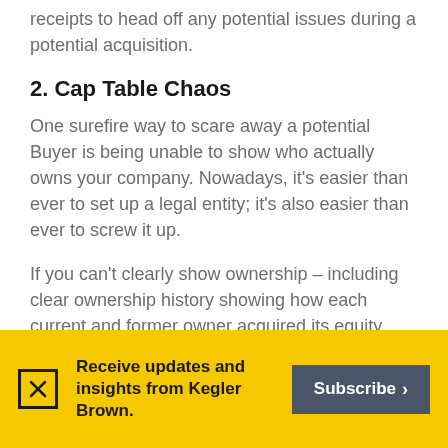receipts to head off any potential issues during a potential acquisition.
2. Cap Table Chaos
One surefire way to scare away a potential Buyer is being unable to show who actually owns your company. Nowadays, it's easier than ever to set up a legal entity; it's also easier than ever to screw it up.
If you can't clearly show ownership – including clear ownership history showing how each current and former owner acquired its equity interest and/or disposed of its
Receive updates and insights from Kegler Brown.
Subscribe >